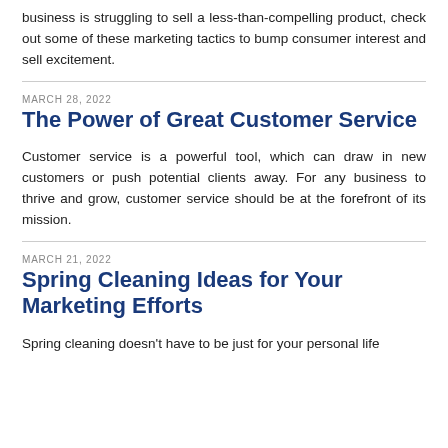business is struggling to sell a less-than-compelling product, check out some of these marketing tactics to bump consumer interest and sell excitement.
MARCH 28, 2022
The Power of Great Customer Service
Customer service is a powerful tool, which can draw in new customers or push potential clients away. For any business to thrive and grow, customer service should be at the forefront of its mission.
MARCH 21, 2022
Spring Cleaning Ideas for Your Marketing Efforts
Spring cleaning doesn't have to be just for your personal life